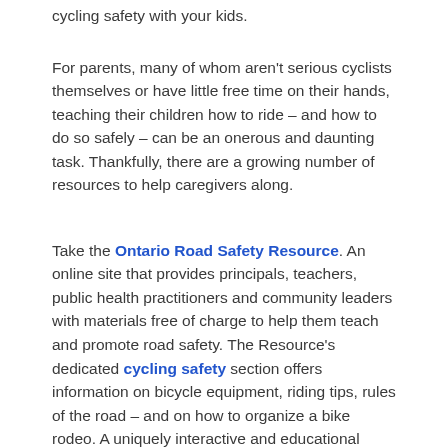cycling safety with your kids.
For parents, many of whom aren't serious cyclists themselves or have little free time on their hands, teaching their children how to ride – and how to do so safely – can be an onerous and daunting task. Thankfully, there are a growing number of resources to help caregivers along.
Take the Ontario Road Safety Resource. An online site that provides principals, teachers, public health practitioners and community leaders with materials free of charge to help them teach and promote road safety. The Resource's dedicated cycling safety section offers information on bicycle equipment, riding tips, rules of the road – and on how to organize a bike rodeo. A uniquely interactive and educational event for kids, a bike rodeo teaches participants various cycling techniques and how to obey traffic